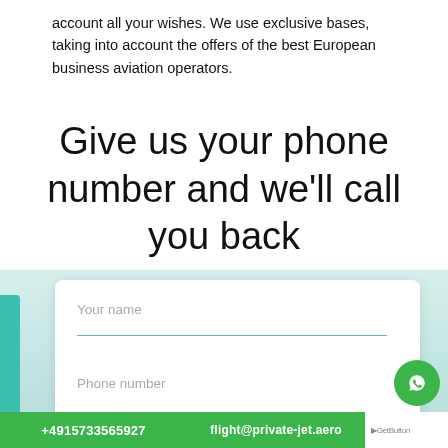account all your wishes. We use exclusive bases, taking into account the offers of the best European business aviation operators.
Give us your phone number and we'll call you back
[Figure (screenshot): A contact form card with fields for 'Your name' and 'Phone number', set against a teal gradient background with a white rounded card. At the bottom are green buttons showing '+4915733565927' and 'flight@private-jet.aero', and a WhatsApp floating button on the right.]